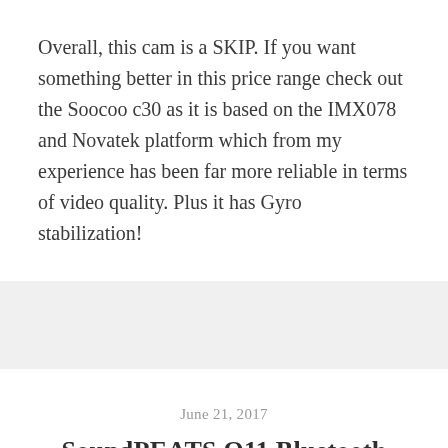Overall, this cam is a SKIP. If you want something better in this price range check out the Soocoo c30 as it is based on the IMX078 and Novatek platform which from my experience has been far more reliable in terms of video quality. Plus it has Gyro stabilization!
June 21, 2017
SoundPEATS Q11 Bluetooth Headphones Review